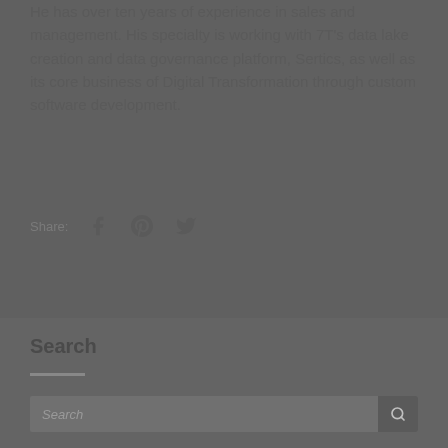He has over ten years of experience in sales and management. His specialty is working with 7T's data lake creation and data governance platform, Sertics, as well as its core business of Digital Transformation through custom software development.
Share:
Search
Search